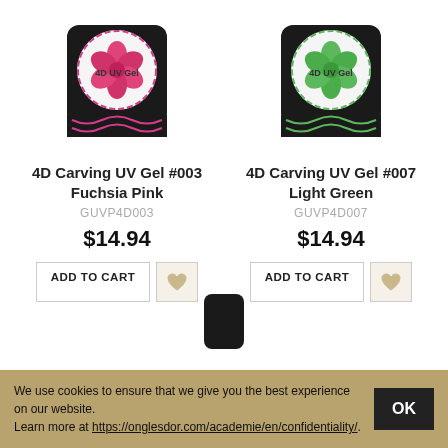[Figure (photo): 4D UV Gel jar product #003 Fuchsia Pink - black square container with pink rose logo on white lid]
[Figure (photo): 4D UV Gel jar product #007 Light Green - black square container with green rose logo on white lid]
4D Carving UV Gel #003 Fuchsia Pink
GUVP4D003
$14.94
4D Carving UV Gel #007 Light Green
GUVP4D007
$14.94
[Figure (photo): Partial view of a third 4D UV Gel product jar - black lid visible at bottom of page]
We use cookies to ensure that we give you the best experience on our website.
Learn more at https://onglesdor.com/academie/en/confidentiality/.